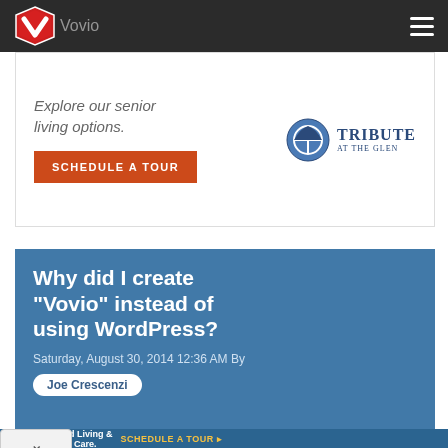Vovio
[Figure (screenshot): Advertisement banner for 'Tribute at the Glen' senior living with text 'Explore our senior living options.' and a 'SCHEDULE A TOUR' button]
Why did I create "Vovio" instead of using WordPress?
Saturday, August 30, 2014 12:36 AM By
Joe Crescenzi
[Figure (screenshot): Bottom advertisement for 'Tribute at Welord' with text 'Assisted Living & Memory Care. SCHEDULE A TOUR']